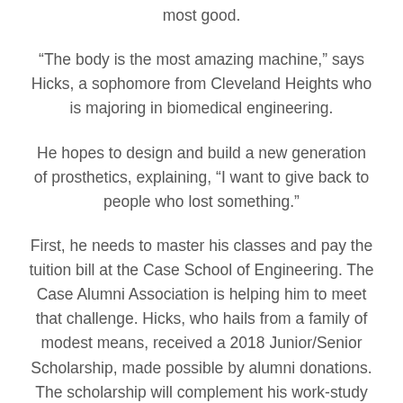most good.
“The body is the most amazing machine,” says Hicks, a sophomore from Cleveland Heights who is majoring in biomedical engineering.
He hopes to design and build a new generation of prosthetics, explaining, “I want to give back to people who lost something.”
First, he needs to master his classes and pay the tuition bill at the Case School of Engineering. The Case Alumni Association is helping him to meet that challenge. Hicks, who hails from a family of modest means, received a 2018 Junior/Senior Scholarship, made possible by alumni donations. The scholarship will complement his work-study income, he said, and help him take advantage of opportunities that still seem boundless.